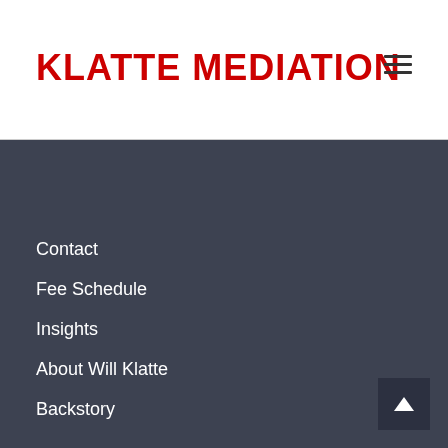KLATTE MEDIATION
Contact
Fee Schedule
Insights
About Will Klatte
Backstory